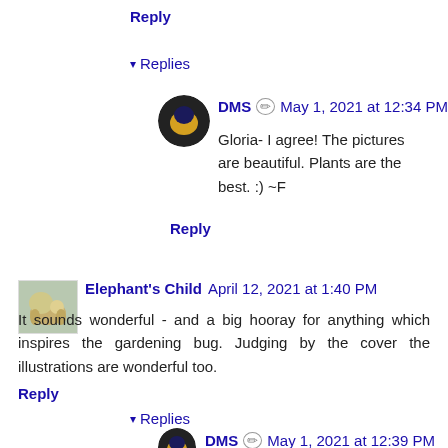Reply
▾ Replies
DMS ✏ May 1, 2021 at 12:34 PM
Gloria- I agree! The pictures are beautiful. Plants are the best. :) ~F
Reply
Elephant's Child April 12, 2021 at 1:40 PM
It sounds wonderful - and a big hooray for anything which inspires the gardening bug. Judging by the cover the illustrations are wonderful too.
Reply
▾ Replies
DMS ✏ May 1, 2021 at 12:39 PM